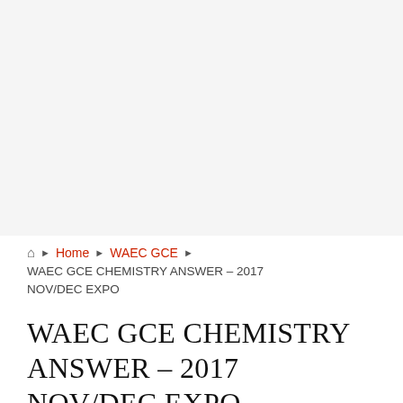[Figure (other): Advertisement or banner placeholder block at top of webpage]
Home ▶ WAEC GCE ▶ WAEC GCE CHEMISTRY ANSWER – 2017 NOV/DEC EXPO
WAEC GCE CHEMISTRY ANSWER – 2017 NOV/DEC EXPO